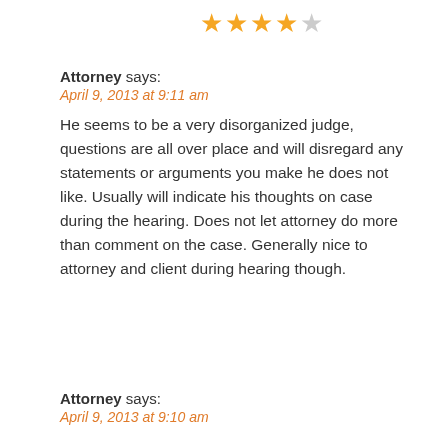[Figure (other): Star rating: 4 out of 5 stars (4 filled orange stars, 1 empty gray star)]
Attorney says:
April 9, 2013 at 9:11 am
He seems to be a very disorganized judge, questions are all over place and will disregard any statements or arguments you make he does not like. Usually will indicate his thoughts on case during the hearing. Does not let attorney do more than comment on the case. Generally nice to attorney and client during hearing though.
Attorney says:
April 9, 2013 at 9:10 am